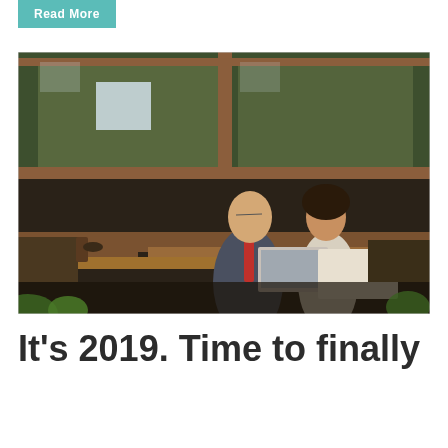Read More
[Figure (photo): Two business professionals, a man in a suit with a red tie and a woman in a white t-shirt, sitting at a wooden table outdoors reviewing work on a laptop. The setting appears to be a modern restaurant or cafe with large wooden-framed windows and green foliage visible in the background.]
It’s 2019. Time to finally